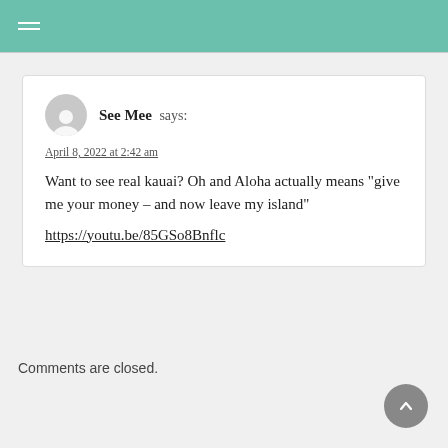See Mee says:
April 8, 2022 at 2:42 am
Want to see real kauai? Oh and Aloha actually means "give me your money – and now leave my island"
https://youtu.be/85GSo8Bnflc
Comments are closed.